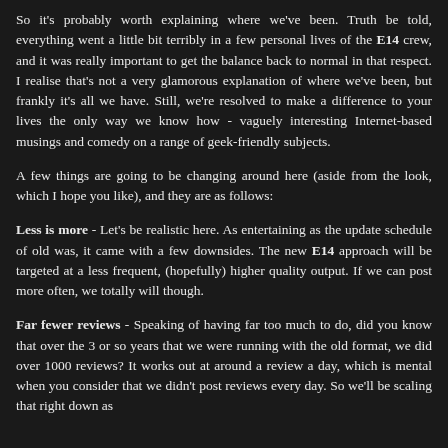So it's probably worth explaining where we've been. Truth be told, everything went a little bit terribly in a few personal lives of the E14 crew, and it was really important to get the balance back to normal in that respect. I realise that's not a very glamorous explanation of where we've been, but frankly it's all we have. Still, we're resolved to make a difference to your lives the only way we know how - vaguely interesting Internet-based musings and comedy on a range of geek-friendly subjects.
A few things are going to be changing around here (aside from the look, which I hope you like), and they are as follows:
Less is more - Let's be realistic here. As entertaining as the update schedule of old was, it came with a few downsides. The new E14 approach will be targeted at a less frequent, (hopefully) higher quality output. If we can post more often, we totally will though.
Far fewer reviews - Speaking of having far too much to do, did you know that over the 3 or so years that we were running with the old format, we did over 1000 reviews? It works out at around a review a day, which is mental when you consider that we didn't post reviews every day. So we'll be scaling that right down as